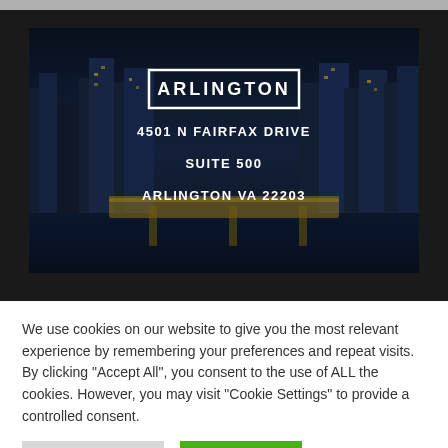[Figure (photo): City skyline photo (Arlington, VA) at night with buildings, a yellow bridge over water, overlaid with text box showing 'ARLINGTON' and address details.]
We use cookies on our website to give you the most relevant experience by remembering your preferences and repeat visits. By clicking "Accept All", you consent to the use of ALL the cookies. However, you may visit "Cookie Settings" to provide a controlled consent.